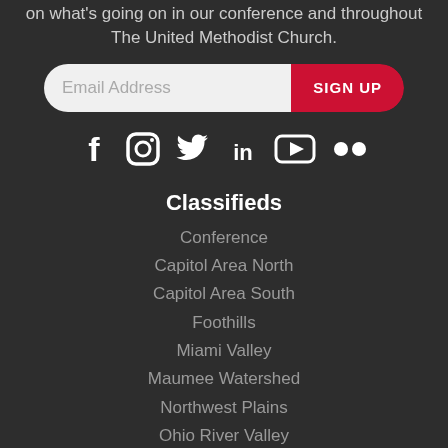on what's going on in our conference and throughout The United Methodist Church.
[Figure (screenshot): Email signup form with email address input field and red SIGN UP button]
[Figure (infographic): Social media icons: Facebook, Instagram, Twitter, LinkedIn, YouTube, Flickr]
Classifieds
Conference
Capitol Area North
Capitol Area South
Foothills
Miami Valley
Maumee Watershed
Northwest Plains
Ohio River Valley